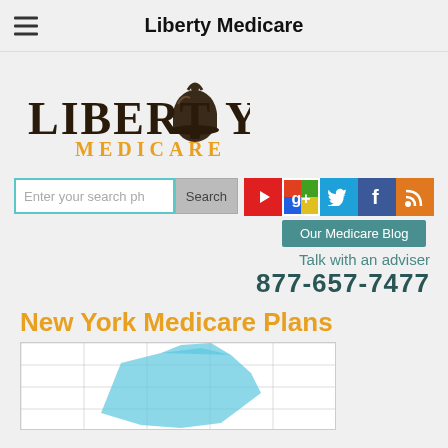Liberty Medicare
[Figure (logo): Liberty Medicare logo with liberty bell icon, 'LIBERTY' in dark brown/black serif font and 'MEDICARE' in orange capitals below]
Enter your search ph
Search
[Figure (infographic): Social media icons row: YouTube (red play button), Google+ (colorful), Twitter (blue bird), Facebook (blue f), RSS (orange)]
Our Medicare Blog
Talk with an adviser
877-657-7477
New York Medicare Plans
[Figure (map): Partial map of New York state with light blue shading and grid lines]